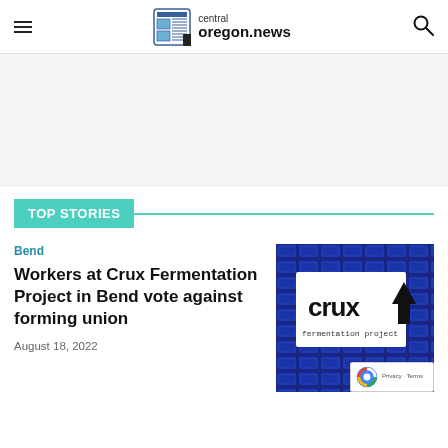central oregon.news
TOP STORIES
Bend
Workers at Crux Fermentation Project in Bend vote against forming union
August 18, 2022
[Figure (photo): Photo showing blue keyboard background with Crux Fermentation Project logo overlay — white box with 'crux fermentation project' text in black and upward arrow]